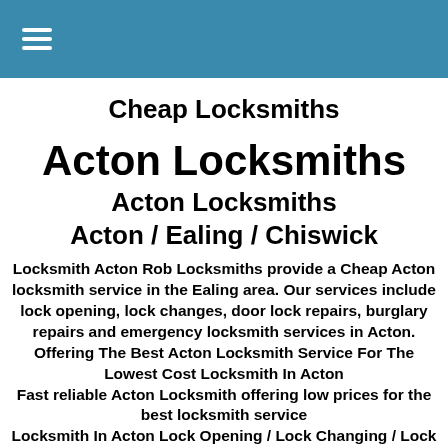≡ (hamburger menu icon)
Cheap Locksmiths
Acton Locksmiths
Acton Locksmiths
Acton / Ealing / Chiswick
Locksmith Acton Rob Locksmiths provide a Cheap Acton locksmith service in the Ealing area. Our services include lock opening, lock changes, door lock repairs, burglary repairs and emergency locksmith services in Acton. Offering The Best Acton Locksmith Service For The Lowest Cost Locksmith In Acton Fast reliable Acton Locksmith offering low prices for the best locksmith service Locksmith In Acton Lock Opening / Lock Changing / Lock Repair For The Best Price Call Acton Locksmith